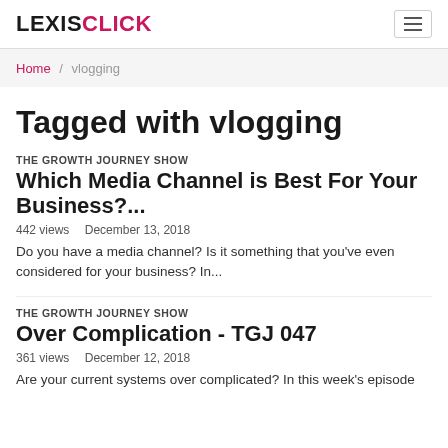LEXISCLICK
Home / vlogging
Tagged with vlogging
THE GROWTH JOURNEY SHOW
Which Media Channel is Best For Your Business?...
442 views   December 13, 2018
Do you have a media channel? Is it something that you've even considered for your business? In...
THE GROWTH JOURNEY SHOW
Over Complication - TGJ 047
361 views   December 12, 2018
Are your current systems over complicated? In this week's episode